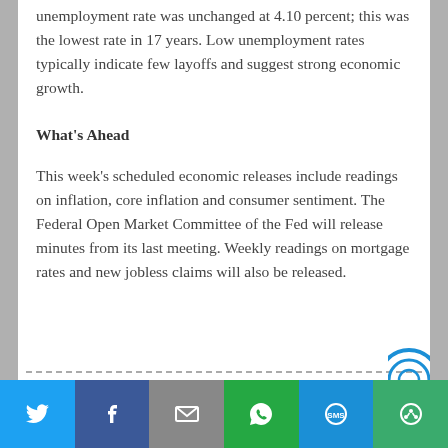unemployment rate was unchanged at 4.10 percent; this was the lowest rate in 17 years. Low unemployment rates typically indicate few layoffs and suggest strong economic growth.
What's Ahead
This week's scheduled economic releases include readings on inflation, core inflation and consumer sentiment. The Federal Open Market Committee of the Fed will release minutes from its last meeting. Weekly readings on mortgage rates and new jobless claims will also be released.
Share bar with Twitter, Facebook, Email, WhatsApp, SMS, More icons